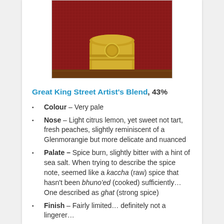[Figure (photo): Photo of a gold/brass decorative container on a red woven fabric background, partially cropped at top]
Great King Street Artist's Blend, 43%
Colour – Very pale
Nose – Light citrus lemon, yet sweet not tart, fresh peaches, slightly reminiscent of a Glenmorangie but more delicate and nuanced
Palate – Spice burn, slightly bitter with a hint of sea salt. When trying to describe the spice note, seemed like a kaccha (raw) spice that hasn't been bhuno'ed (cooked) sufficiently… One described as ghat (strong spice)
Finish – Fairly limited… definitely not a lingerer…
Add water? The spice reduced with the fresh sweet lemon coming back full force!